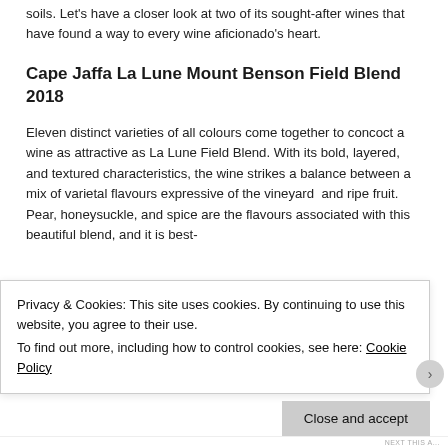soils. Let's have a closer look at two of its sought-after wines that have found a way to every wine aficionado's heart.
Cape Jaffa La Lune Mount Benson Field Blend 2018
Eleven distinct varieties of all colours come together to concoct a wine as attractive as La Lune Field Blend. With its bold, layered, and textured characteristics, the wine strikes a balance between a mix of varietal flavours expressive of the vineyard  and ripe fruit. Pear, honeysuckle, and spice are the flavours associated with this beautiful blend, and it is best-
Privacy & Cookies: This site uses cookies. By continuing to use this website, you agree to their use.
To find out more, including how to control cookies, see here: Cookie Policy
Close and accept